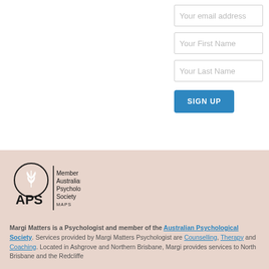[Figure (screenshot): Form fields: Your email address, Your First Name, Your Last Name input boxes and a SIGN UP button]
[Figure (logo): APS (Australian Psychological Society) member logo with leaf/circle emblem and text: Member Australian Psychological Society MAPS]
Margi Matters is a Psychologist and member of the Australian Psychological Society. Services provided by Margi Matters Psychologist are Counselling, Therapy and Coaching. Located in Ashgrove and Northern Brisbane, Margi provides services to North Brisbane and the Redcliffe